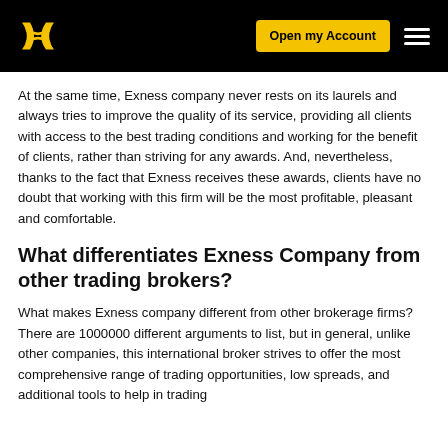[Figure (logo): Exness logo in yellow on black navigation bar with 'Open my Account' button and hamburger menu]
At the same time, Exness company never rests on its laurels and always tries to improve the quality of its service, providing all clients with access to the best trading conditions and working for the benefit of clients, rather than striving for any awards. And, nevertheless, thanks to the fact that Exness receives these awards, clients have no doubt that working with this firm will be the most profitable, pleasant and comfortable.
What differentiates Exness Company from other trading brokers?
What makes Exness company different from other brokerage firms? There are 1000000 different arguments to list, but in general, unlike other companies, this international broker strives to offer the most comprehensive range of trading opportunities, low spreads, and additional tools to help in trading